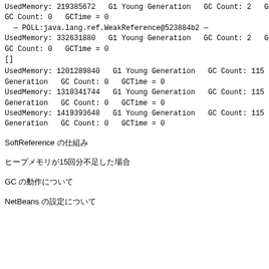UsedMemory: 219385672   G1 Young Generation   GC Count: 2   GCT
GC Count: 0   GCTime = 0
— POLL:java.lang.ref.WeakReference@523884b2 —
UsedMemory: 332631880   G1 Young Generation   GC Count: 2   GCT
GC Count: 0   GCTime = 0
[]
UsedMemory: 1201289840   G1 Young Generation   GC Count: 115   G
Generation   GC Count: 0   GCTime = 0
UsedMemory: 1310341744   G1 Young Generation   GC Count: 115   G
Generation   GC Count: 0   GCTime = 0
UsedMemory: 1419393648   G1 Young Generation   GC Count: 115   G
Generation   GC Count: 0   GCTime = 0
SoftReference の仕組み
ヒープメモリが15回分不足した場合
GC の動作について
NetBeans の設定について